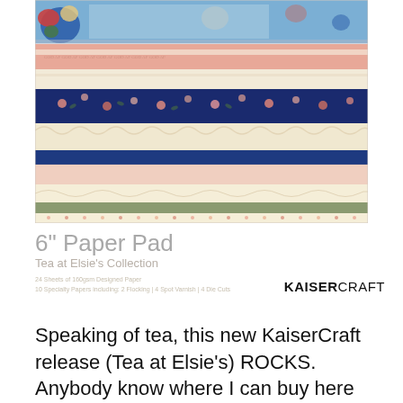[Figure (photo): KaiserCraft 6 inch paper pad product image showing stacked decorative papers with floral patterns in blue, coral/salmon, cream, navy, and sage green colors. The papers are fanned/stacked showing various patterns including florals, lace, geometric, and solid colors.]
6" Paper Pad
Tea at Elsie's Collection
24 Sheets of 160gsm Designed Paper
10 Specialty Papers including: 2 Flocking | 4 Spot Varnish | 4 Die Cuts
KAISERCRAFT
Speaking of tea, this new KaiserCraft release (Tea at Elsie's) ROCKS. Anybody know where I can buy here in USA? Oh! I have some pictures